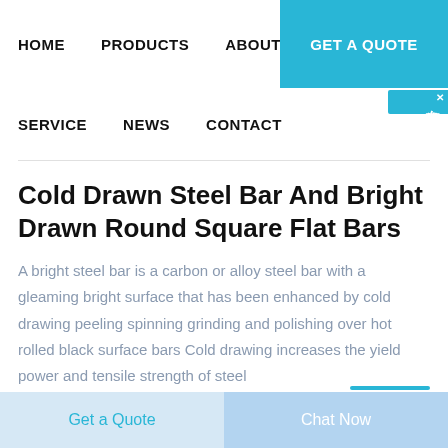HOME   PRODUCTS   ABOUT   GET A QUOTE
SERVICE   NEWS   CONTACT
Cold Drawn Steel Bar And Bright Drawn Round Square Flat Bars
A bright steel bar is a carbon or alloy steel bar with a gleaming bright surface that has been enhanced by cold drawing peeling spinning grinding and polishing over hot rolled black surface bars Cold drawing increases the yield power and tensile strength of steel